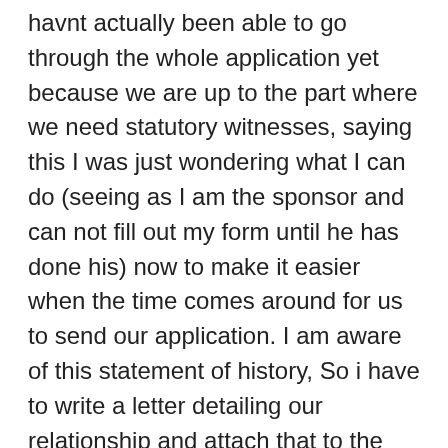havnt actually been able to go through the whole application yet because we are up to the part where we need statutory witnesses, saying this I was just wondering what I can do (seeing as I am the sponsor and can not fill out my form until he has done his) now to make it easier when the time comes around for us to send our application. I am aware of this statement of history, So i have to write a letter detailing our relationship and attach that to the application? I am just confused cause I have seen some people attaching the house hold, financial aspects of the relationship to the statement of history when on the application online it asks you the questions in different fields and not to have it all together. If you could please help me out I